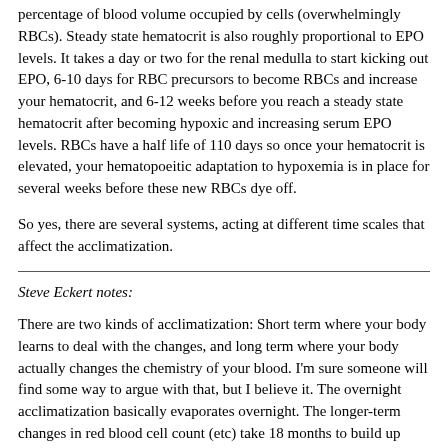percentage of blood volume occupied by cells (overwhelmingly RBCs). Steady state hematocrit is also roughly proportional to EPO levels. It takes a day or two for the renal medulla to start kicking out EPO, 6-10 days for RBC precursors to become RBCs and increase your hematocrit, and 6-12 weeks before you reach a steady state hematocrit after becoming hypoxic and increasing serum EPO levels. RBCs have a half life of 110 days so once your hematocrit is elevated, your hematopoeitic adaptation to hypoxemia is in place for several weeks before these new RBCs dye off.
So yes, there are several systems, acting at different time scales that affect the acclimatization.
Steve Eckert notes:
There are two kinds of acclimatization: Short term where your body learns to deal with the changes, and long term where your body actually changes the chemistry of your blood. I'm sure someone will find some way to argue with that, but I believe it. The overnight acclimatization basically evaporates overnight. The longer-term changes in red blood cell count (etc) take 18 months to build up (according to one high-altitude guide book) and take similarly long to reverse. There isn't just one answer!